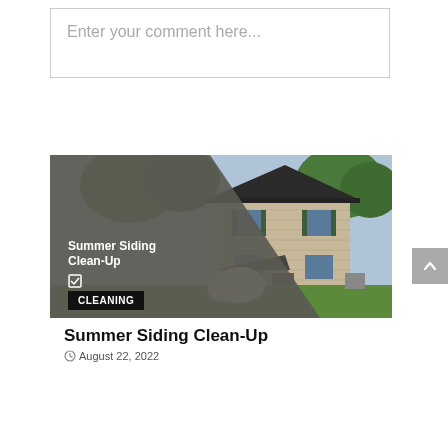Enter your comment here...
[Figure (photo): Promotional card image showing a two-story house with siding, dark roof with solar panels, and lush green lawn. A dark gray triangular overlay on the left side displays text 'Summer Siding Clean-Up' with a checkbox icon and a black 'CLEANING' button.]
Summer Siding Clean-Up
August 22, 2022